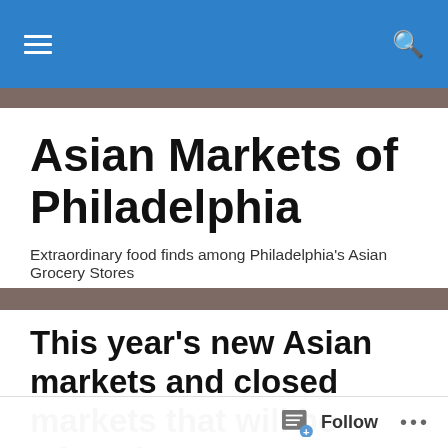Asian Markets of Philadelphia
Extraordinary food finds among Philadelphia's Asian Grocery Stores
This year's new Asian markets and closed markets that will be missed
[Figure (photo): Exterior of a building with large glass windows and brick facade, partially visible, cropped at bottom of page]
Follow